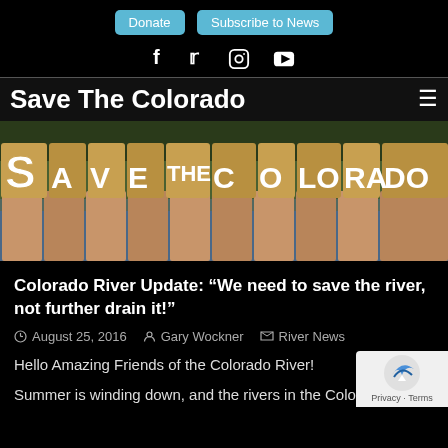Donate | Subscribe to News
f  Twitter  Instagram  YouTube social icons
Save The Colorado
[Figure (photo): Group of people holding up cardboard signs spelling out SAVE THE COLORADO in front of a river, viewed from behind]
Colorado River Update: “We need to save the river, not further drain it!”
August 25, 2016   Gary Wockner   River News
Hello Amazing Friends of the Colorado River!
Summer is winding down, and the rivers in the Colorado River